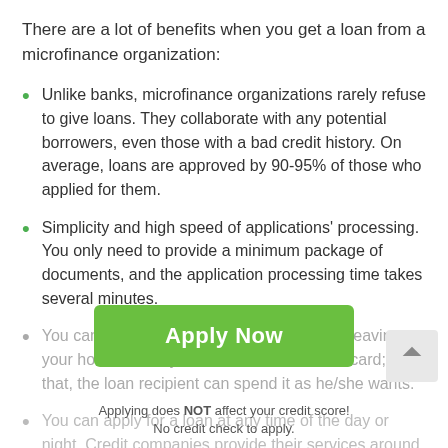There are a lot of benefits when you get a loan from a microfinance organization:
Unlike banks, microfinance organizations rarely refuse to give loans. They collaborate with any potential borrowers, even those with a bad credit history. On average, loans are approved by 90-95% of those who applied for them.
Simplicity and high speed of applications' processing. You only need to provide a minimum package of documents, and the application processing time takes several minutes.
You can apply for a fast loan online without leaving your house. Money is transferred to a bank card; after that, the loan recipient can spend it as he/she wants.
You can apply for a loan at any time of the day or night. Credit companies provide their services around the clock.
Apply Now
Applying does NOT affect your credit score!
No credit check to apply.